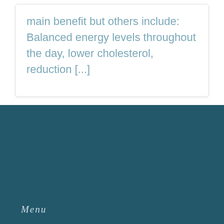main benefit but others include:  Balanced energy levels throughout the day, lower cholesterol, reduction [...]
BUY ONLINE
Menu